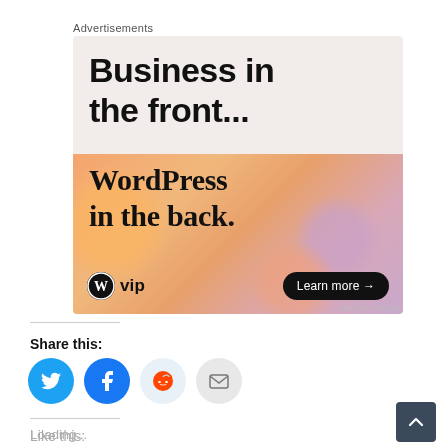Advertisements
[Figure (illustration): WordPress VIP advertisement banner. Top half: light beige/pink background with bold black text 'Business in the front...'. Bottom half: orange-pink gradient background with serif bold text 'WordPress in the back.' WordPress VIP logo on the bottom left and 'Learn more →' button on the bottom right.]
REPORT THIS AD
Share this:
[Figure (illustration): Four social sharing icon circles: Twitter (blue), Facebook (blue), Reddit (light blue), Email (grey)]
Like this:
Loading...